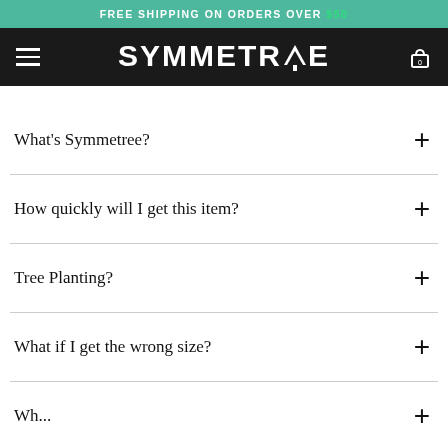FREE SHIPPING ON ORDERS OVER $50
[Figure (logo): SYMMETREE logo with tree icon in white on dark background, with hamburger menu icon on left and cart icon on right]
What's Symmetree?
How quickly will I get this item?
Tree Planting?
What if I get the wrong size?
Wh... (partially visible)